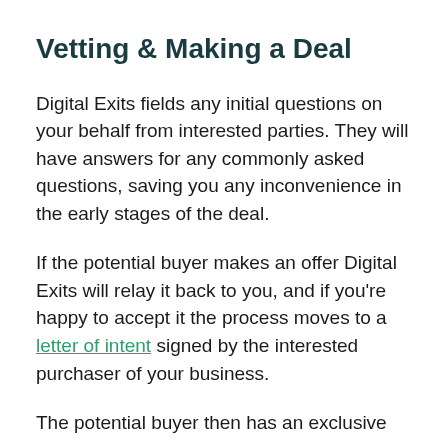Vetting & Making a Deal
Digital Exits fields any initial questions on your behalf from interested parties. They will have answers for any commonly asked questions, saving you any inconvenience in the early stages of the deal.
If the potential buyer makes an offer Digital Exits will relay it back to you, and if you're happy to accept it the process moves to a letter of intent signed by the interested purchaser of your business.
The potential buyer then has an exclusive